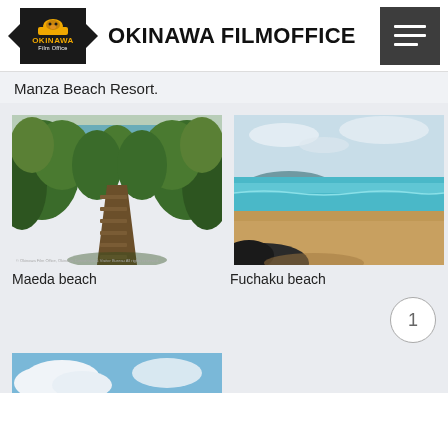OKINAWA FILMOFFICE
Manza Beach Resort.
[Figure (photo): Maeda beach - a narrow wooden stairway path through dense tropical vegetation leading to a turquoise sea]
Maeda beach
[Figure (photo): Fuchaku beach - a sandy beach with calm turquoise water and blue sky with clouds]
Fuchaku beach
[Figure (photo): Partial view of a beach with blue sky and white clouds at the bottom of the page]